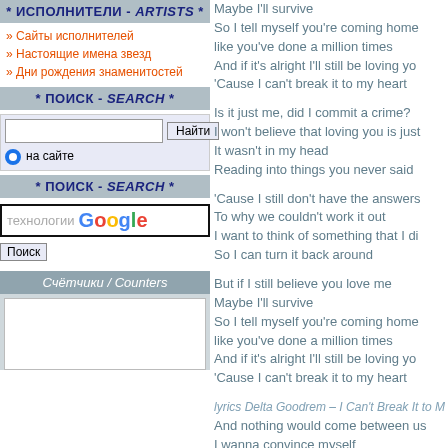* ИСПОЛНИТЕЛИ - ARTISTS *
» Сайты исполнителей
» Настоящие имена звезд
» Дни рождения знаменитостей
* ПОИСК - SEARCH *
[Figure (screenshot): Search form with text input and Найти button, radio button labeled 'на сайте']
* ПОИСК - SEARCH *
[Figure (screenshot): Google search box with 'технологии Google' text and Поиск button]
Счётчики / Counters
Maybe I'll survive
So I tell myself you're coming home
like you've done a million times
And if it's alright I'll still be loving yo
'Cause I can't break it to my heart

Is it just me, did I commit a crime?
I won't believe that loving you is just...
It wasn't in my head
Reading into things you never said

'Cause I still don't have the answers
To why we couldn't work it out
I want to think of something that I di...
So I can turn it back around

But if I still believe you love me
Maybe I'll survive
So I tell myself you're coming home
like you've done a million times
And if it's alright I'll still be loving yo
'Cause I can't break it to my heart

And nothing would come between us
I wanna convince myself
we're perfect in every single way
Aslong as I can keep the truth away f...
Cause I can't break it to my heart